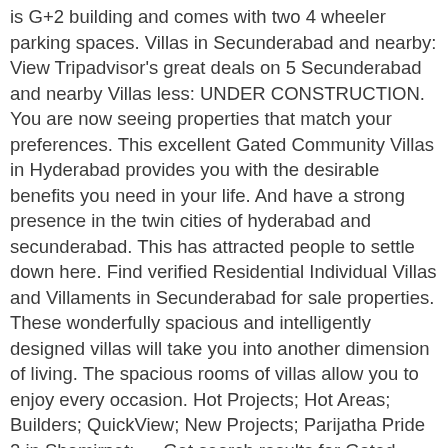is G+2 building and comes with two 4 wheeler parking spaces. Villas in Secunderabad and nearby: View Tripadvisor's great deals on 5 Secunderabad and nearby Villas less: UNDER CONSTRUCTION. You are now seeing properties that match your preferences. This excellent Gated Community Villas in Hyderabad provides you with the desirable benefits you need in your life. And have a strong presence in the twin cities of hyderabad and secunderabad. This has attracted people to settle down here. Find verified Residential Individual Villas and Villaments in Secunderabad for sale properties. These wonderfully spacious and intelligently designed villas will take you into another dimension of living. The spacious rooms of villas allow you to enjoy every occasion. Hot Projects; Hot Areas; Builders; QuickView; New Projects; Parijatha Pride 2 in Shamirpet: … Get search results for Gated Community Villas for Sale in A.S. Rao Nagar, Hyderabad with property specifications, amenities and contact details. Aadhya Advaita Villas 181,671 views. Located away from the speeding traffic